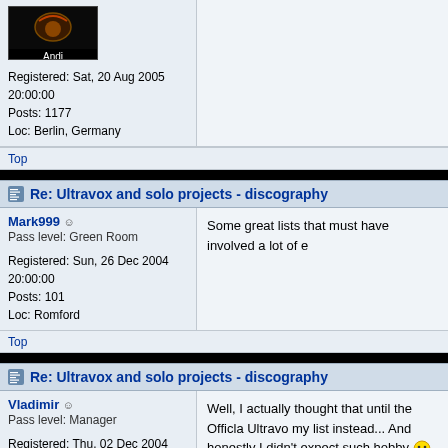Andi
Registered: Sat, 20 Aug 2005 20:00:00
Posts: 1177
Loc: Berlin, Germany
Top
Re: Ultravox and solo projects - discography
Mark999
Pass level: Green Room
Registered: Sun, 26 Dec 2004 20:00:00
Posts: 101
Loc: Romford
Some great lists that must have involved a lot of e
Top
Re: Ultravox and solo projects - discography
Vladimir
Pass level: Manager
Registered: Thu, 02 Dec 2004 20:00:00
Posts: 407
Loc: Russia, Moscow suburb, the cit...
Well, I actually thought that until the Officla Ultravo my list instead... And honestly I didn't expect such hobby